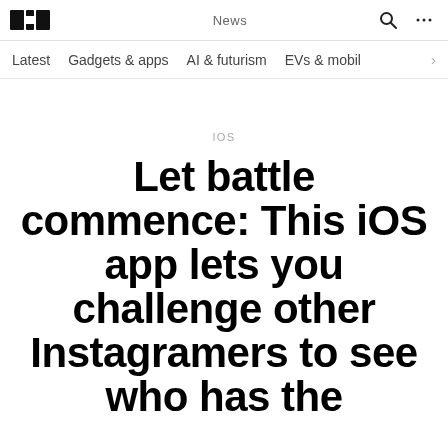TNW News
Latest  Gadgets & apps  AI & futurism  EVs & mobil
IOS
Let battle commence: This iOS app lets you challenge other Instagramers to see who has the